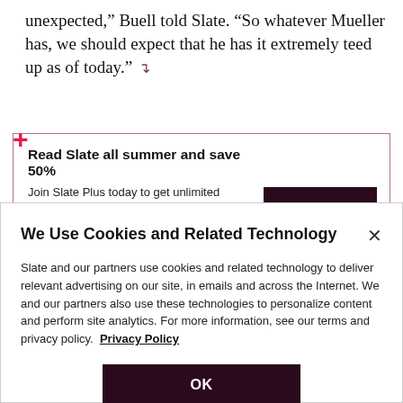unexpected,” Buell told Slate. “So whatever Mueller has, we should expect that he has it extremely teed up as of today.”
Read Slate all summer and save 50% Join Slate Plus today to get unlimited access to the latest in movies, TV, music, books, and more—as well as the rest of Slate’s coverage. Try 3 months for just $30 $15.
We Use Cookies and Related Technology
Slate and our partners use cookies and related technology to deliver relevant advertising on our site, in emails and across the Internet. We and our partners also use these technologies to personalize content and perform site analytics. For more information, see our terms and privacy policy. Privacy Policy
OK